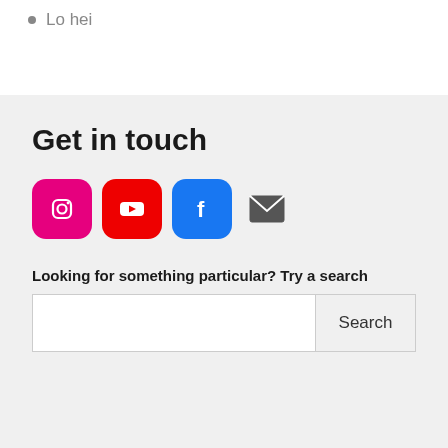Lo hei
Get in touch
[Figure (other): Social media icons: Instagram (pink rounded square), YouTube (red rounded square), Facebook (blue rounded square), and an email envelope icon]
Looking for something particular? Try a search